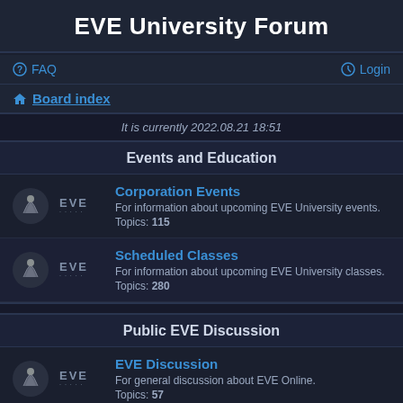EVE University Forum
FAQ
Login
Board index
It is currently 2022.08.21 18:51
Events and Education
Corporation Events
For information about upcoming EVE University events.
Topics: 115
Scheduled Classes
For information about upcoming EVE University classes.
Topics: 280
Public EVE Discussion
EVE Discussion
For general discussion about EVE Online.
Topics: 57
Fittings Discussion
For discussion of ship fittings
subforum: Released Fittings Archive